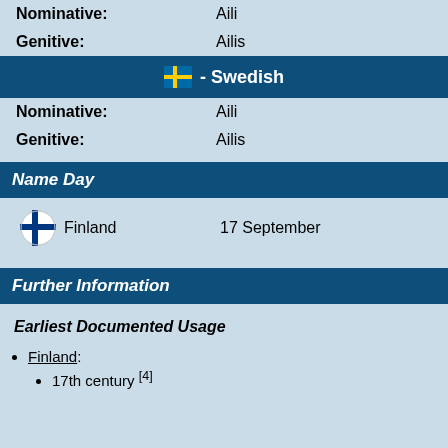Nominative: Aili
Genitive: Ailis
Swedish
Nominative: Aili
Genitive: Ailis
Name Day
Finland   17 September
Further Information
Earliest Documented Usage
Finland:
17th century [4]